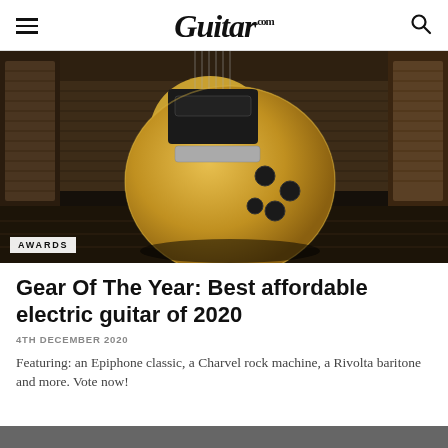Guitar.com
[Figure (photo): A yellow/gold electric guitar (Les Paul style) leaning against a brown vintage amplifier on a wooden floor, photographed in moody low lighting. An 'AWARDS' badge is overlaid in the bottom-left corner of the image.]
Gear Of The Year: Best affordable electric guitar of 2020
4TH DECEMBER 2020
Featuring: an Epiphone classic, a Charvel rock machine, a Rivolta baritone and more. Vote now!